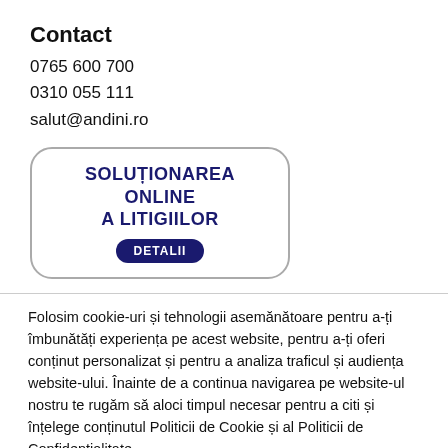Contact
0765 600 700
0310 055 111
salut@andini.ro
[Figure (other): Rounded rectangle banner with dark navy text 'SOLUȚIONAREA ONLINE A LITIGIILOR' in bold uppercase and a dark navy pill button labeled 'DETALII']
Folosim cookie-uri și tehnologii asemănătoare pentru a-ți îmbunătăți experiența pe acest website, pentru a-ți oferi conținut personalizat și pentru a analiza traficul și audiența website-ului. Înainte de a continua navigarea pe website-ul nostru te rugăm să aloci timpul necesar pentru a citi și înțelege conținutul Politicii de Cookie și al Politicii de Confidențialitate.
Politica de confidențialitate
Setări cookies
Respinge cookies
Acceptă cookies